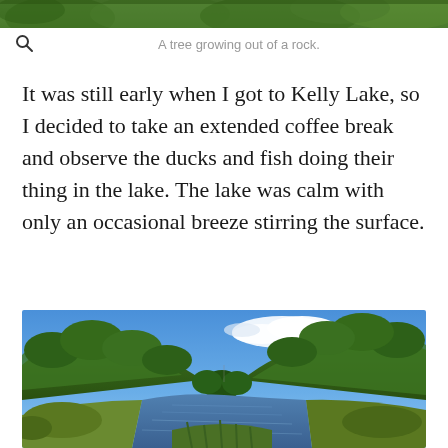[Figure (photo): Top portion of a photo showing green foliage/trees, partially cropped at the top of the page.]
A tree growing out of a rock.
It was still early when I got to Kelly Lake, so I decided to take an extended coffee break and observe the ducks and fish doing their thing in the lake. The lake was calm with only an occasional breeze stirring the surface.
[Figure (photo): Outdoor landscape photo of a calm lake or river surrounded by forested green hills under a blue sky with white clouds.]